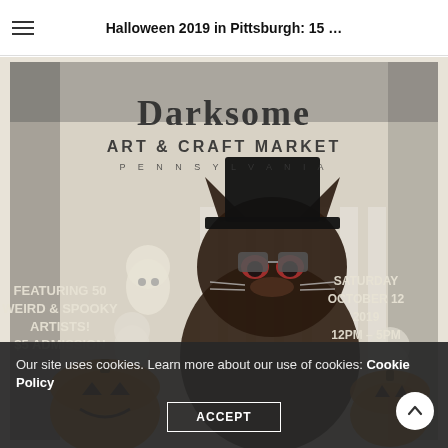Halloween 2019 in Pittsburgh: 15 …
[Figure (illustration): Darksome Art & Craft Market Pennsylvania poster. Features a gothic-style illustration with a black cat character wearing a top hat and sunglasses, surrounded by ghosts and jack-o-lanterns. Text reads: 'Darksome Art & Craft Market Pennsylvania', 'Featuring 50 Weird & Spooky Artists! $5 Admission', 'Saturday October 12 2019 12PM – 5PM']
Our site uses cookies. Learn more about our use of cookies: Cookie Policy
ACCEPT